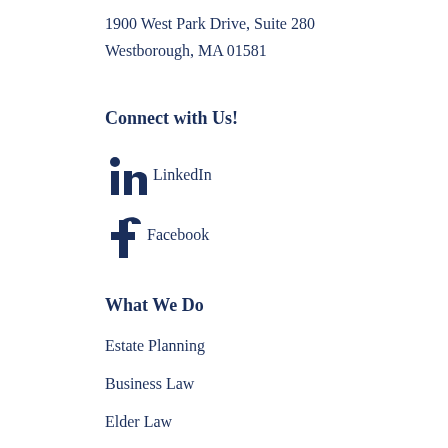1900 West Park Drive, Suite 280
Westborough, MA 01581
Connect with Us!
LinkedIn
Facebook
What We Do
Estate Planning
Business Law
Elder Law